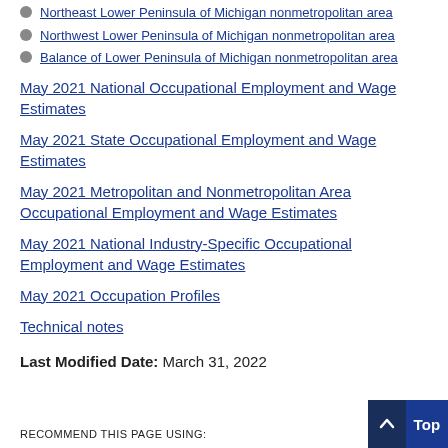Northeast Lower Peninsula of Michigan nonmetropolitan area
Northwest Lower Peninsula of Michigan nonmetropolitan area
Balance of Lower Peninsula of Michigan nonmetropolitan area
May 2021 National Occupational Employment and Wage Estimates
May 2021 State Occupational Employment and Wage Estimates
May 2021 Metropolitan and Nonmetropolitan Area Occupational Employment and Wage Estimates
May 2021 National Industry-Specific Occupational Employment and Wage Estimates
May 2021 Occupation Profiles
Technical notes
Last Modified Date: March 31, 2022
RECOMMEND THIS PAGE USING: